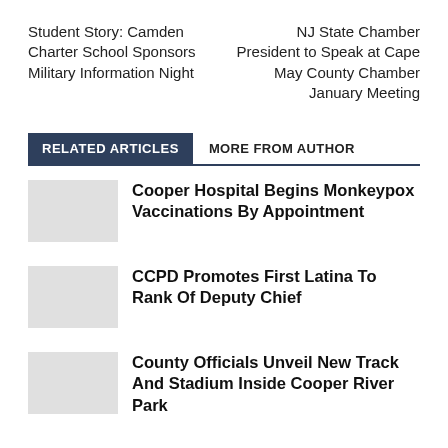Student Story: Camden Charter School Sponsors Military Information Night
NJ State Chamber President to Speak at Cape May County Chamber January Meeting
RELATED ARTICLES
MORE FROM AUTHOR
Cooper Hospital Begins Monkeypox Vaccinations By Appointment
CCPD Promotes First Latina To Rank Of Deputy Chief
County Officials Unveil New Track And Stadium Inside Cooper River Park